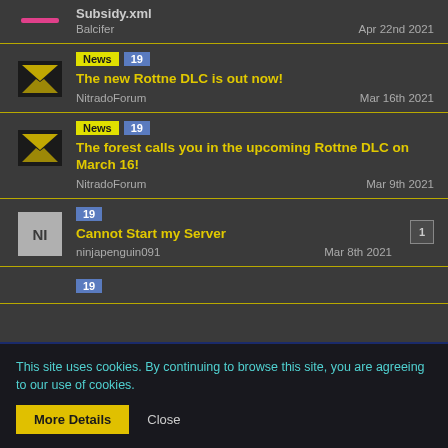Subsidy.xml · Balcifer · Apr 22nd 2021
News 19 · The new Rottne DLC is out now! · NitradoForum · Mar 16th 2021
News 19 · The forest calls you in the upcoming Rottne DLC on March 16! · NitradoForum · Mar 9th 2021
19 · Cannot Start my Server · 1 reply · ninjapenguin091 · Mar 8th 2021
This site uses cookies. By continuing to browse this site, you are agreeing to our use of cookies.
More Details · Close